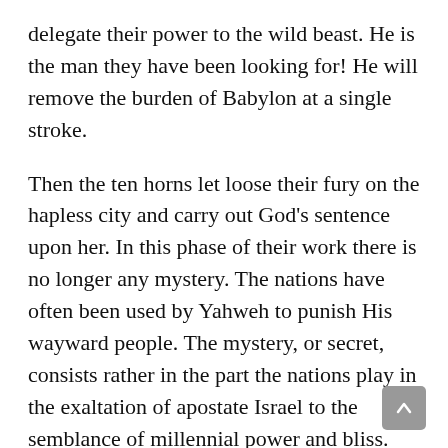delegate their power to the wild beast. He is the man they have been looking for! He will remove the burden of Babylon at a single stroke.
Then the ten horns let loose their fury on the hapless city and carry out God's sentence upon her. In this phase of their work there is no longer any mystery. The nations have often been used by Yahweh to punish His wayward people. The mystery, or secret, consists rather in the part the nations play in the exaltation of apostate Israel to the semblance of millennial power and bliss. The mystery of the wild beast consists in the support which the nations of the earth give Israel in her final and most fearful apostasy from Yahweh.